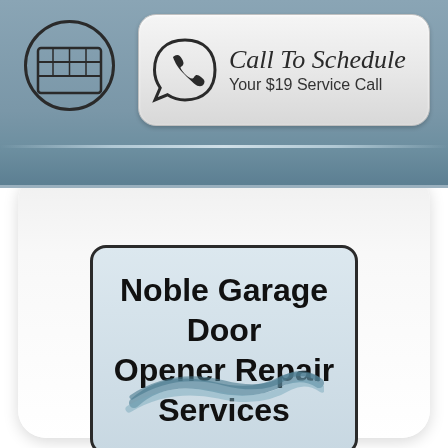[Figure (logo): Garage door icon in a circle, and a WhatsApp-style phone icon with 'Call To Schedule Your $19 Service Call' text in a pill-shaped banner]
Noble Garage Door Opener Repair Services
[Figure (illustration): Decorative swoosh/ribbon logo in steel blue color]